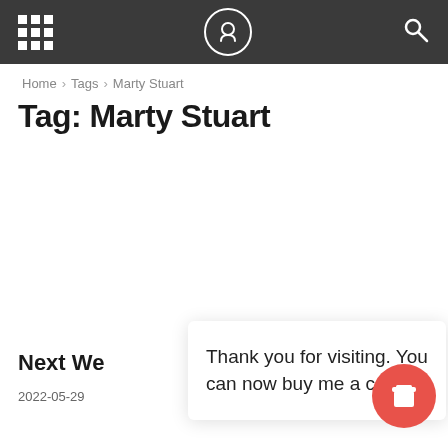Navigation bar with grid icon, logo, and search
Home > Tags > Marty Stuart
Tag: Marty Stuart
Next We
2022-05-29
5 •
Thank you for visiting. You can now buy me a coffee!